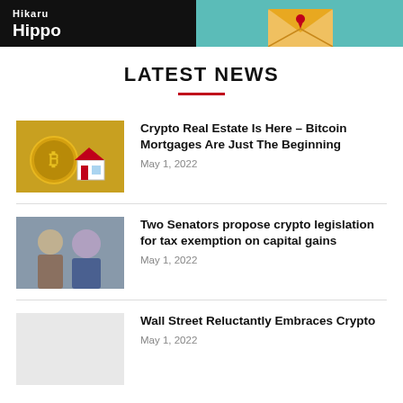[Figure (logo): Hikaru Hippo banner advertisement with dark background on left and teal background on right, envelope illustration on right side]
LATEST NEWS
[Figure (photo): Gold bitcoin coin next to a small red and white model house on a golden background]
Crypto Real Estate Is Here – Bitcoin Mortgages Are Just The Beginning
May 1, 2022
[Figure (photo): Two US senators, a man and a woman, photographed together]
Two Senators propose crypto legislation for tax exemption on capital gains
May 1, 2022
Wall Street Reluctantly Embraces Crypto
May 1, 2022